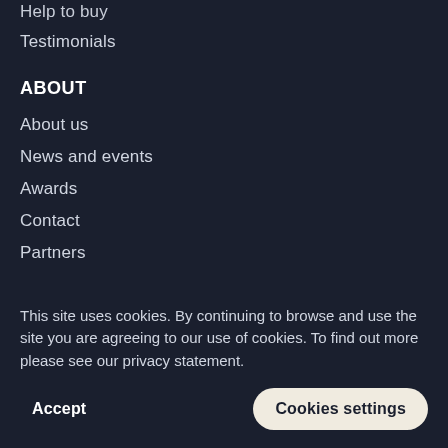Help to buy
Testimonials
ABOUT
About us
News and events
Awards
Contact
Partners
This site uses cookies. By continuing to browse and use the site you are agreeing to our use of cookies. To find out more please see our privacy statement.
Accept
Cookies settings